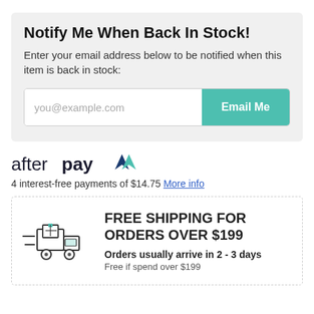Notify Me When Back In Stock!
Enter your email address below to be notified when this item is back in stock:
[Figure (other): Email input field with placeholder 'you@example.com' and a teal 'Email Me' button]
[Figure (logo): Afterpay logo with stylized arrow icon]
4 interest-free payments of $14.75 More info
[Figure (illustration): Delivery truck icon with motion lines]
FREE SHIPPING FOR ORDERS OVER $199
Orders usually arrive in 2 - 3 days
Free if spend over $199